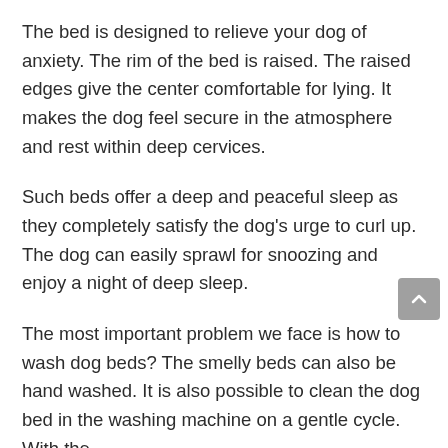The bed is designed to relieve your dog of anxiety. The rim of the bed is raised. The raised edges give the center comfortable for lying. It makes the dog feel secure in the atmosphere and rest within deep cervices.
Such beds offer a deep and peaceful sleep as they completely satisfy the dog's urge to curl up. The dog can easily sprawl for snoozing and enjoy a night of deep sleep.
The most important problem we face is how to wash dog beds? The smelly beds can also be hand washed. It is also possible to clean the dog bed in the washing machine on a gentle cycle. With the